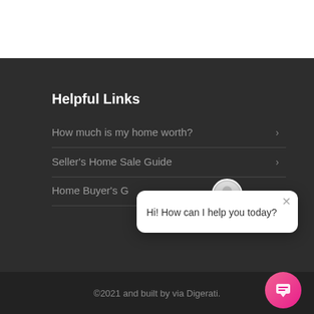Helpful Links
How much is my home worth?
Seller's Home Sale Guide
Home Buyer's G…
[Figure (screenshot): Chat popup with avatar of a man in suit, close button (x), and message text 'Hi! How can I help you today?']
©2021 and built by via Digerati.